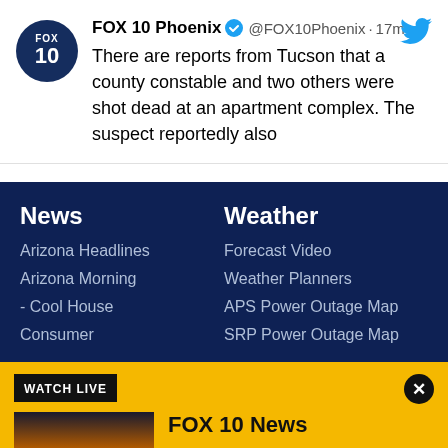FOX 10 Phoenix @FOX10Phoenix · 17m
There are reports from Tucson that a county constable and two others were shot dead at an apartment complex. The suspect reportedly also
News
Arizona Headlines
Arizona Morning
- Cool House
Consumer
Weather
Forecast Video
Weather Planners
APS Power Outage Map
SRP Power Outage Map
WATCH LIVE
[Figure (logo): FOX 10 Phoenix thumbnail image with sunset and cactus silhouette]
FOX 10 News
The latest Arizona headlines, national news events of the day + sports and weather updates.